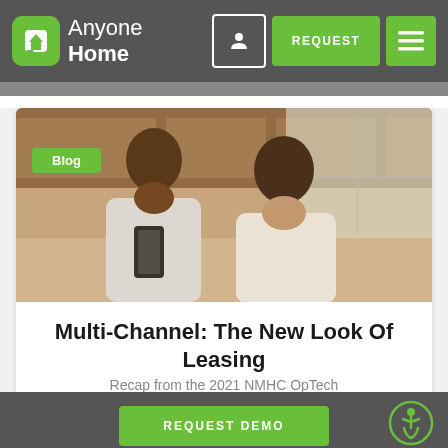Anyone Home — Navigation header with logo, REQUEST button, and menu
[Figure (photo): A man and woman sitting together looking at a smartphone in a kitchen setting]
Blog
Multi-Channel: The New Look Of Leasing
Recap from the 2021 NMHC OpTech
REQUEST DEMO